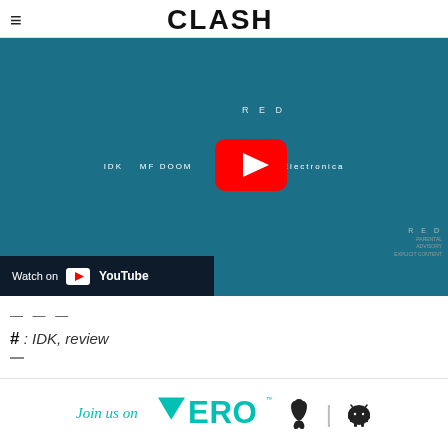≡ CLASH
[Figure (screenshot): YouTube video embed showing IDK RED album cover with artists IDK, MF DOOM, and Jay Electronica listed, with YouTube play button overlay and Watch on YouTube bar]
— — —
# : IDK, review
[Figure (infographic): Vero app banner: Join us on VERO with Apple and Android icons]